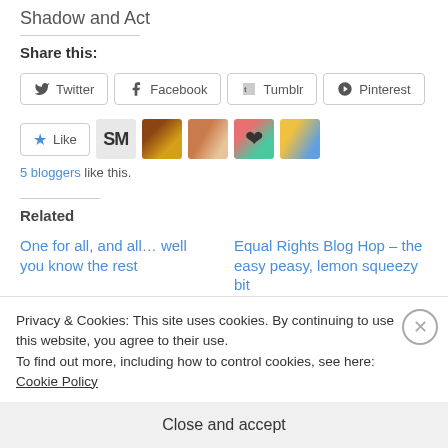Shadow and Act
Share this:
[Figure (screenshot): Social share buttons: Twitter, Facebook, Tumblr, Pinterest]
[Figure (screenshot): Like button with star icon and 5 blogger avatars]
5 bloggers like this.
Related
One for all, and all… well you know the rest
Equal Rights Blog Hop – the easy peasy, lemon squeezy bit
Privacy & Cookies: This site uses cookies. By continuing to use this website, you agree to their use.
To find out more, including how to control cookies, see here: Cookie Policy
Close and accept